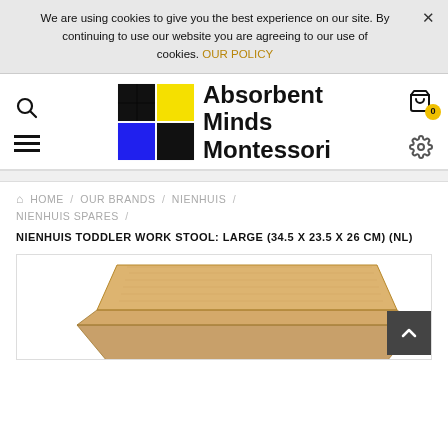We are using cookies to give you the best experience on our site. By continuing to use our website you are agreeing to our use of cookies. OUR POLICY
[Figure (logo): Absorbent Minds Montessori logo with a grid of colored squares (black, yellow, blue, red) and brand name text]
HOME / OUR BRANDS / NIENHUIS / NIENHUIS SPARES /
NIENHUIS TODDLER WORK STOOL: LARGE (34.5 X 23.5 X 26 CM) (NL)
[Figure (photo): Partial view of a wooden toddler work stool (light oak/beech color), showing the top surface and step, product photo on white background]